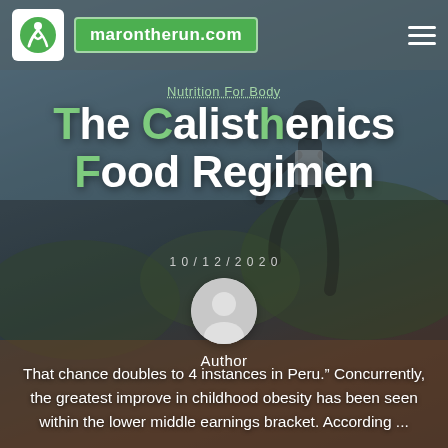marontherun.com
Nutrition For Body
The Calisthenics Food Regimen
1 0 / 1 2 / 2 0 2 0
[Figure (illustration): Author avatar placeholder circle icon]
Author
That chance doubles to 4 instances in Peru.” Concurrently, the greatest improve in childhood obesity has been seen within the lower middle earnings bracket. According ...